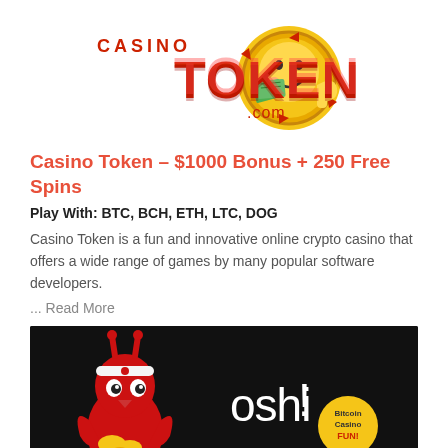[Figure (logo): Casino Token logo — red stylized text 'CASINO TOKEN .com' with a smiling gold coin character holding cash and giving thumbs up]
Casino Token – $1000 Bonus + 250 Free Spins
Play With: BTC, BCH, ETH, LTC, DOG
Casino Token is a fun and innovative online crypto casino that offers a wide range of games by many popular software developers.
... Read More
[Figure (illustration): Oshi Casino banner — dark background with a red cartoon bird/alien mascot holding gold coins, with 'oshi!' text and a yellow circle badge reading 'Bitcoin Casino FUN!']